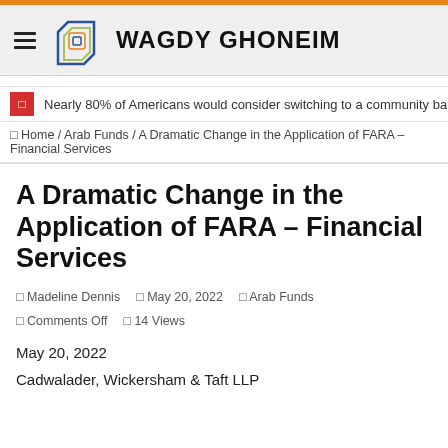WAGDY GHONEIM
Nearly 80% of Americans would consider switching to a community bank, Gra
⌂ Home / Arab Funds / A Dramatic Change in the Application of FARA – Financial Services
A Dramatic Change in the Application of FARA – Financial Services
Madeline Dennis  May 20, 2022  Arab Funds  Comments Off  14 Views
May 20, 2022
Cadwalader, Wickersham & Taft LLP